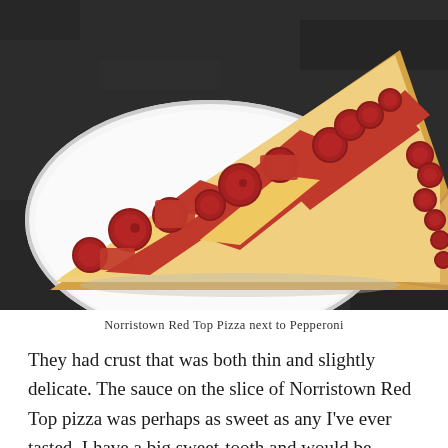[Figure (photo): A large pepperoni pizza slice (Norristown Red Top style) placed on a white paper plate, sitting on a dark granite counter. The slice is very large, topped with red sauce and multiple pepperoni pieces.]
Norristown Red Top Pizza next to Pepperoni
They had crust that was both thin and slightly delicate. The sauce on the slice of Norristown Red Top pizza was perhaps as sweet as any I've ever tasted. I have a big sweet-tooth and would be ordering that pie regularly if I lived near Collegeville. They also offer Detroit-style and